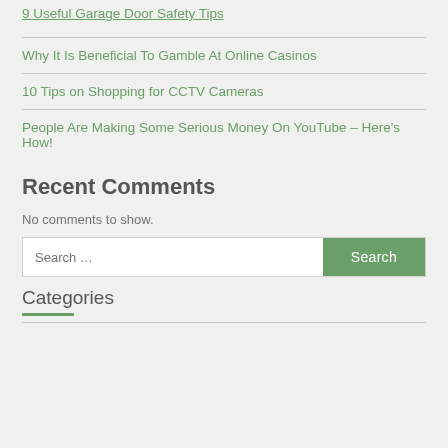9 Useful Garage Door Safety Tips
Why It Is Beneficial To Gamble At Online Casinos
10 Tips on Shopping for CCTV Cameras
People Are Making Some Serious Money On YouTube – Here's How!
Recent Comments
No comments to show.
Categories